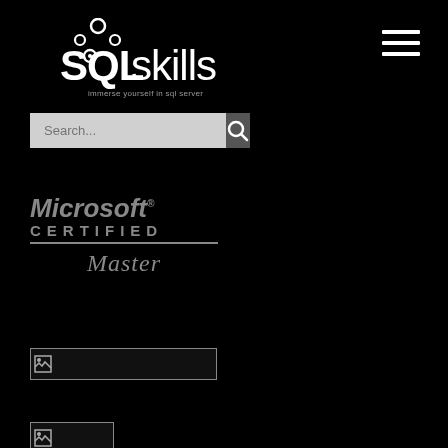[Figure (logo): SQLskills logo with circles decoration and tagline 'immerse yourself in sql server']
[Figure (other): Hamburger navigation menu icon (three horizontal lines)]
[Figure (other): Search bar with text input and search button icon]
[Figure (logo): Microsoft Certified Master badge in grey tones]
[Figure (other): Broken image placeholder (wide)]
[Figure (other): Broken image placeholder (small)]